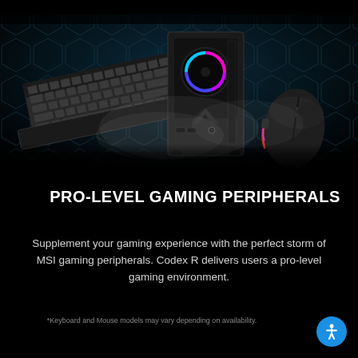[Figure (photo): MSI gaming peripherals product photo: MSI mechanical keyboard with RGB lighting on the left, MSI Codex R gaming desktop PC tower with RGB fan in the center, and MSI gaming mouse on the right, all on a dark hexagonal textured background with smoke/particle effects]
PRO-LEVEL GAMING PERIPHERALS
Supplement your gaming experience with the perfect storm of MSI gaming peripherals. Codex R delivers users a pro-level gaming environment.
*Keyboard and Mouse models may vary depending on availability.